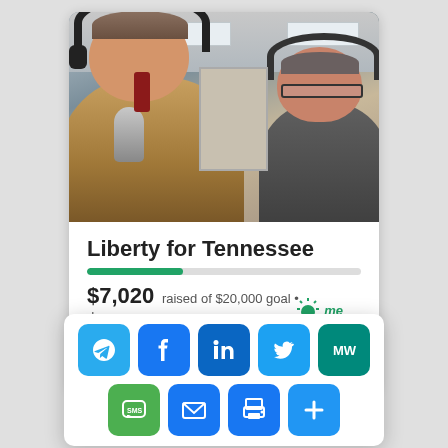[Figure (photo): Two men wearing headphones in what appears to be a radio studio, with an American flag visible in the background. The man on the left is speaking into a microphone.]
Liberty for Tennessee
$7,020 raised of $20,000 goal • donor
[Figure (screenshot): Social media share panel with buttons for Telegram, Facebook, LinkedIn, Twitter, MW, SMS, Email, Print, and More]
[Figure (logo): GoFundMe logo (sun/me)]